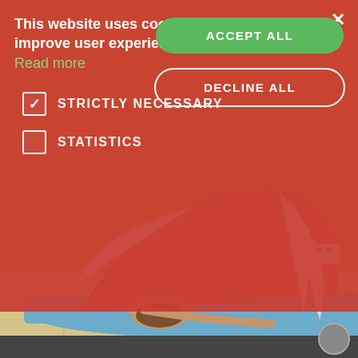[Figure (photo): Person performing a yoga backbend pose (Ustrasana/Camel pose variation) on a blue mat against a yellow wall. Wearing orange top and white pants.]
This website uses cookies to improve user experience. Read more
ACCEPT ALL
DECLINE ALL
STRICTLY NECESSARY
STATISTICS